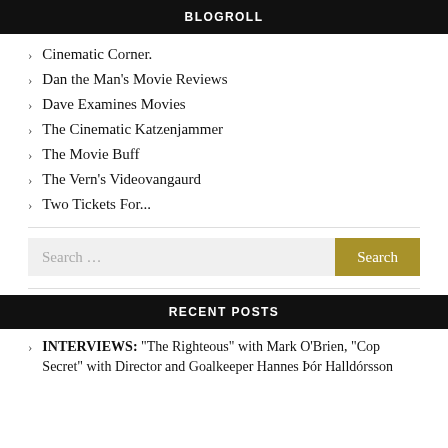BLOGROLL
Cinematic Corner.
Dan the Man's Movie Reviews
Dave Examines Movies
The Cinematic Katzenjammer
The Movie Buff
The Vern's Videovangaurd
Two Tickets For...
RECENT POSTS
INTERVIEWS: “The Righteous” with Mark O’Brien, “Cop Secret” with Director and Goalkeeper Hannes Þór Halldórsson